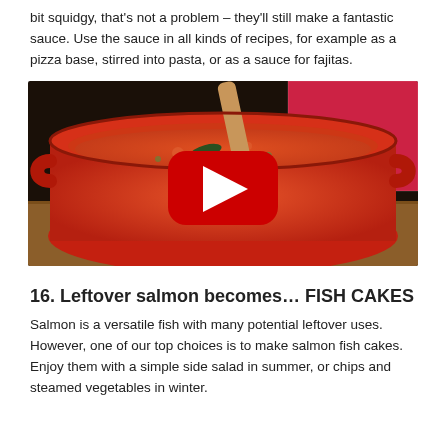bit squidgy, that’s not a problem – they’ll still make a fantastic sauce. Use the sauce in all kinds of recipes, for example as a pizza base, stirred into pasta, or as a sauce for fajitas.
[Figure (photo): A red cast iron pot with tomato sauce being stirred by a wooden spoon, with a YouTube play button overlay in the center.]
16. Leftover salmon becomes… FISH CAKES
Salmon is a versatile fish with many potential leftover uses. However, one of our top choices is to make salmon fish cakes. Enjoy them with a simple side salad in summer, or chips and steamed vegetables in winter.